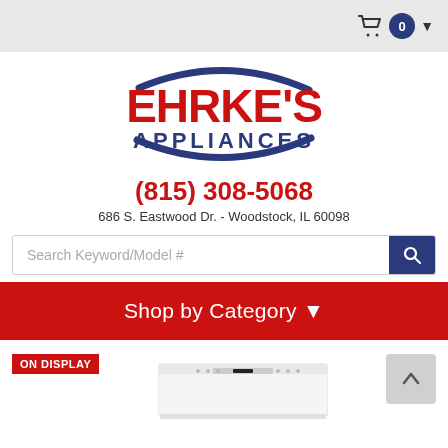[Figure (logo): Ehrke's Appliances logo with red bold text 'EHRKE'S' and blue text 'APPLIANCES' with blue arc swoosh]
(815) 308-5068
686 S. Eastwood Dr. - Woodstock, IL 60098
Search Keyword/Model #
Shop by Category ▼
ON DISPLAY
[Figure (photo): White dishwasher front control panel appliance product photo]